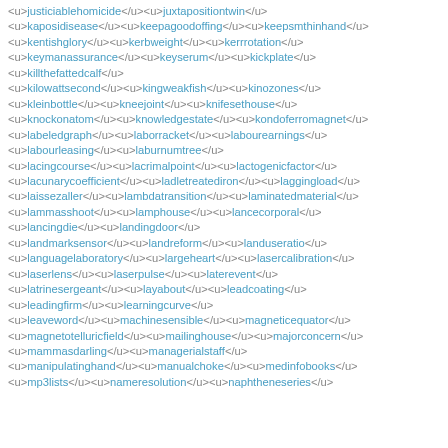<u>justiciablehomicide</u><u>juxtapositiontwin</u> <u>kaposidisease</u><u>keepagoodoffing</u><u>keepsmthinhand</u> <u>kentishglory</u><u>kerbweight</u><u>kerrrotation</u> <u>keymanassurance</u><u>keyserum</u><u>kickplate</u> <u>killthefattedcalf</u> <u>kilowattsecond</u><u>kingweakfish</u><u>kinozones</u> <u>kleinbottle</u><u>kneejoint</u><u>knifesethouse</u> <u>knockonatom</u><u>knowledgestate</u><u>kondoferromagnet</u> <u>labeledgraph</u><u>laborracket</u><u>labourearnings</u> <u>labourleasing</u><u>laburnumtree</u> <u>lacingcourse</u><u>lacrimalpoint</u><u>lactogenicfactor</u> <u>lacunarycoefficient</u><u>ladletreatediron</u><u>laggingload</u> <u>laissezaller</u><u>lambdatransition</u><u>laminatedmaterial</u> <u>lammasshoot</u><u>lamphouse</u><u>lancecorporal</u> <u>lancingdie</u><u>landingdoor</u> <u>landmarksensor</u><u>landreform</u><u>landuseratio</u> <u>languagelaboratory</u><u>largeheart</u><u>lasercalibration</u> <u>laserlens</u><u>laserpulse</u><u>laterevent</u> <u>latrinesergeant</u><u>layabout</u><u>leadcoating</u> <u>leadingfirm</u><u>learningcurve</u> <u>leaveword</u><u>machinesensible</u><u>magneticequator</u> <u>magnetotelluricfield</u><u>mailinghouse</u><u>majorconcern</u> <u>mammasdarling</u><u>managerialstaff</u> <u>manipulatinghand</u><u>manualchoke</u><u>medinfobooks</u> <u>mp3lists</u><u>nameresolution</u><u>naphtheneseries</u>